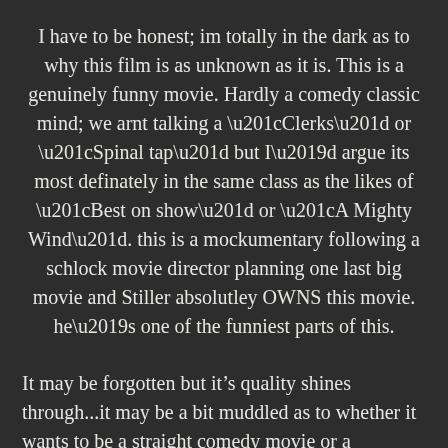I have to be honest; im totally in the dark as to why this film is as unknown as it is. This is a genuinely funny movie. Hardly a comedy classic mind; we arnt talking a “Clerks” or “Spinal tap” but I’d argue its most definately in the same class as the likes of “Best on show” or “A Mighty Wind”. this is a mockumentary following a schlock movie director planning one last big movie and Stiller absolutley OWNS this movie. he’s one of the funniest parts of this.
It may be forgotten but it’s quality shines through...it may be a bit muddled as to whether it wants to be a straight comedy movie or a mockumentary but I love it all the same. A totally underrated classic that I found for 50p in a charity